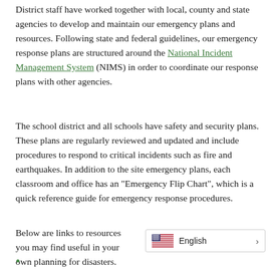District staff have worked together with local, county and state agencies to develop and maintain our emergency plans and resources. Following state and federal guidelines, our emergency response plans are structured around the National Incident Management System (NIMS) in order to coordinate our response plans with other agencies.
The school district and all schools have safety and security plans. These plans are regularly reviewed and updated and include procedures to respond to critical incidents such as fire and earthquakes. In addition to the site emergency plans, each classroom and office has an "Emergency Flip Chart", which is a quick reference guide for emergency response procedures.
Below are links to resources you may find useful in your own planning for disasters.